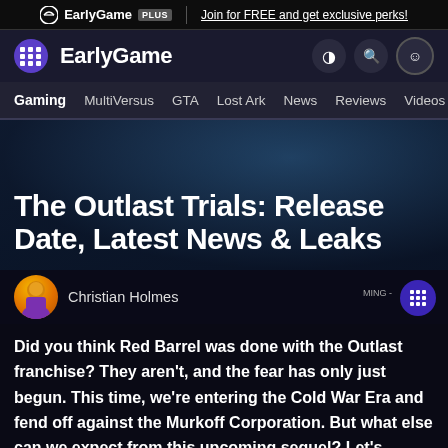EarlyGame PLUS | Join for FREE and get exclusive perks!
EarlyGame
Gaming  MultiVersus  GTA  Lost Ark  News  Reviews  Videos
The Outlast Trials: Release Date, Latest News & Leaks
Christian Holmes
Did you think Red Barrel was done with the Outlast franchise? They aren't, and the fear has only just begun. This time, we're entering the Cold War Era and fend off against the Murkoff Corporation. But what else can we expect from this upcoming sequel? Let's